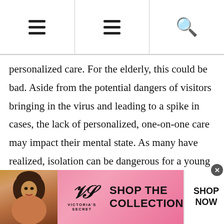Navigation header with two hamburger menu icons and a search icon
personalized care. For the elderly, this could be bad. Aside from the potential dangers of visitors bringing in the virus and leading to a spike in cases, the lack of personalized, one-on-one care may impact their mental state. As many have realized, isolation can be dangerous for a young person’s mental state, but it might be even more detrimental to older persons. Having a trusted companion coming in regularly helps individuals feel more welcome and reduces their feelings of isolation
[Figure (advertisement): Victoria's Secret advertisement banner with model photo, VS logo, 'SHOP THE COLLECTION' text, and 'SHOP NOW' call-to-action button]